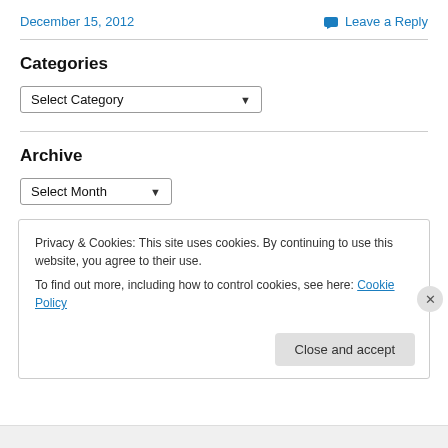December 15, 2012   Leave a Reply
Categories
Select Category
Archive
Select Month
Privacy & Cookies: This site uses cookies. By continuing to use this website, you agree to their use.
To find out more, including how to control cookies, see here: Cookie Policy